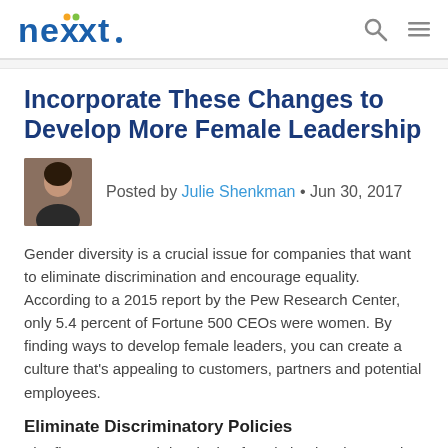nexxt [logo] [search icon] [menu icon]
Incorporate These Changes to Develop More Female Leadership
Posted by Julie Shenkman • Jun 30, 2017
Gender diversity is a crucial issue for companies that want to eliminate discrimination and encourage equality. According to a 2015 report by the Pew Research Center, only 5.4 percent of Fortune 500 CEOs were women. By finding ways to develop female leaders, you can create a culture that's appealing to customers, partners and potential employees.
Eliminate Discriminatory Policies
The first step toward developing female leaders is removing